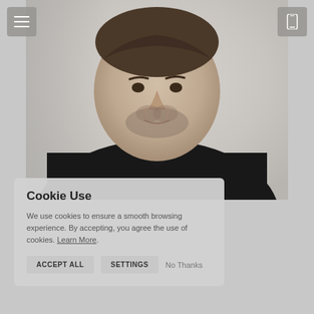[Figure (photo): Portrait photo of a man with short dark beard wearing a dark/black shirt, photographed against a light grey background]
Cookie Use
We use cookies to ensure a smooth browsing experience. By accepting, you agree the use of cookies. Learn More.
ACCEPT ALL
SETTINGS
No Thanks